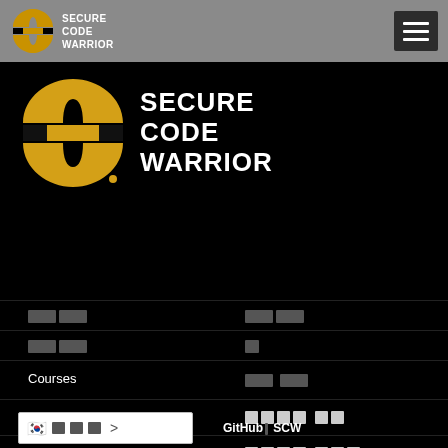[Figure (logo): Secure Code Warrior logo small in gray top bar]
[Figure (logo): Secure Code Warrior large logo on black background]
Courses
Missions
Tournaments
GitHub SCW